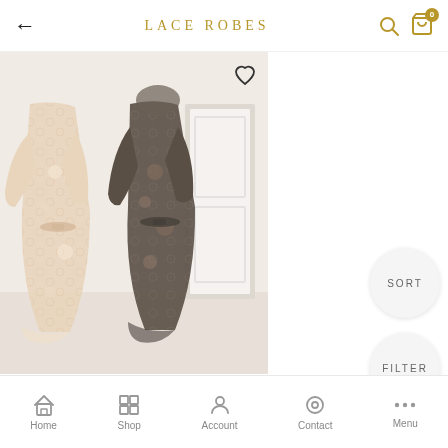LACE ROBES
[Figure (photo): Two lace robes on mannequins - one beige/nude floral lace robe on the left and one dark grey/black floral lace robe on the right, photographed in a bright room with a white door]
Marrakech Lace Robe
$350.00 USD
Home  Shop  Account  Contact  Menu